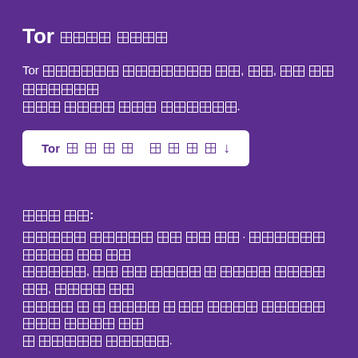Tor [tofu characters] [tofu characters]
Tor [tofu characters] [tofu characters] [tofu], [tofu], [tofu] [tofu] [tofu characters] [tofu characters] [tofu characters] [tofu characters].
Tor [tofu characters] [tofu characters] ↓
[tofu characters]:
[tofu characters] [tofu characters] [tofu] [tofu] [tofu] · [tofu characters] [tofu characters] [tofu] [tofu] [tofu characters], [tofu] [tofu] [tofu characters] [tofu] [tofu characters] [tofu characters], [tofu characters] [tofu] [tofu characters] [tofu] [tofu] [tofu characters] [tofu] [tofu] [tofu characters] [tofu characters] [tofu characters] [tofu] [tofu] [tofu] [tofu characters] [tofu characters].